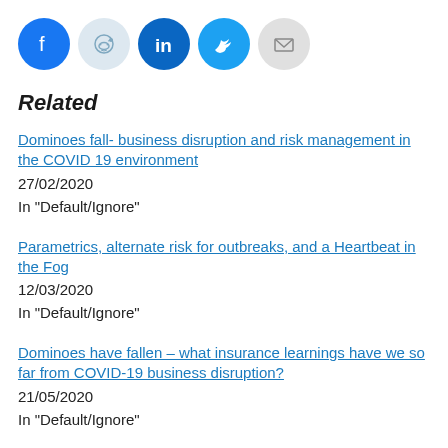[Figure (other): Social sharing icons: Facebook, Reddit, LinkedIn, Twitter, Email]
Related
Dominoes fall- business disruption and risk management in the COVID 19 environment
27/02/2020
In "Default/Ignore"
Parametrics, alternate risk for outbreaks, and a Heartbeat in the Fog
12/03/2020
In "Default/Ignore"
Dominoes have fallen – what insurance learnings have we so far from COVID-19 business disruption?
21/05/2020
In "Default/Ignore"